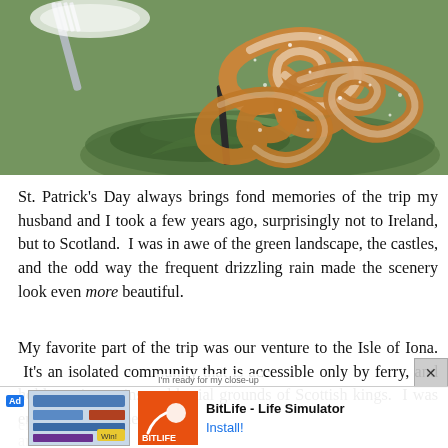[Figure (photo): Photo of pretzel-shaped cookies or pastries dusted with powdered sugar on a green glass plate with a fork, set on a green background]
St. Patrick's Day always brings fond memories of the trip my husband and I took a few years ago, surprisingly not to Ireland, but to Scotland. I was in awe of the green landscape, the castles, and the odd way the frequent drizzling rain made the scenery look even more beautiful.
My favorite part of the trip was our venture to the Isle of Iona. It's an isolated community that is accessible only by ferry, and holds ancient ruins and burial grounds of Scottish kings. I was enamored with the Celtic engrav... artifact... ly
[Figure (screenshot): Ad overlay for BitLife - Life Simulator app with install button]